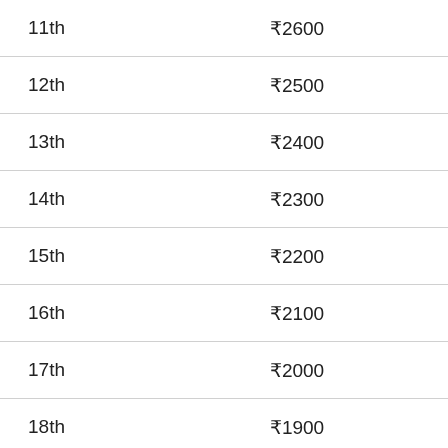| Rank | Amount |
| --- | --- |
| 11th | ₹2600 |
| 12th | ₹2500 |
| 13th | ₹2400 |
| 14th | ₹2300 |
| 15th | ₹2200 |
| 16th | ₹2100 |
| 17th | ₹2000 |
| 18th | ₹1900 |
| 19th | ₹1850 |
| 20th | ₹1800 |
| 21st | ₹1750 |
| 22nd | ₹1700 |